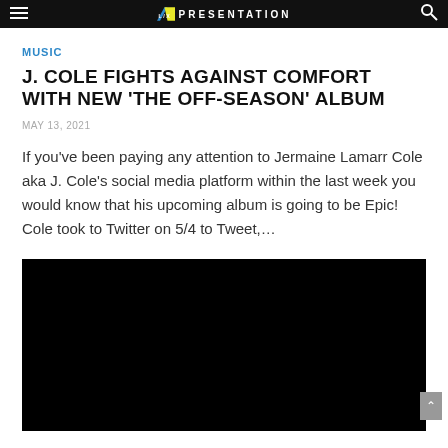PRESENTATION
MUSIC
J. COLE FIGHTS AGAINST COMFORT WITH NEW ‘THE OFF-SEASON’ ALBUM
MAY 13, 2021
If you’ve been paying any attention to Jermaine Lamarr Cole aka J. Cole’s social media platform within the last week you would know that his upcoming album is going to be Epic! Cole took to Twitter on 5/4 to Tweet,…
[Figure (photo): Black video embed or thumbnail placeholder]